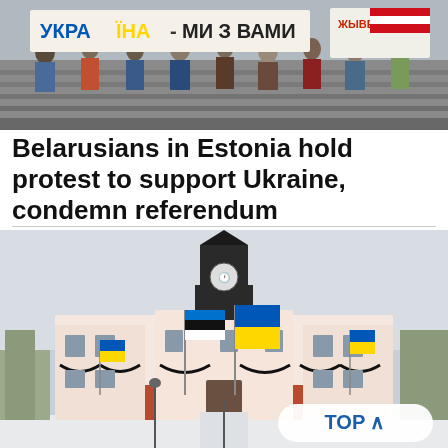[Figure (photo): Protest crowd holding signs including 'УКРАЇНА – МИ З ВАМИ' (Ukraine – We Are With You) in Ukrainian and Belarusian colors, people standing on steps holding banners and placards]
Belarusians in Estonia hold protest to support Ukraine, condemn referendum
[Figure (photo): Tartu Town Hall building in Estonia with Estonian and Ukrainian flags displayed on the facade, winter scene with snow on the ground. A 'TOP ^' button is overlaid on the bottom right of the image.]